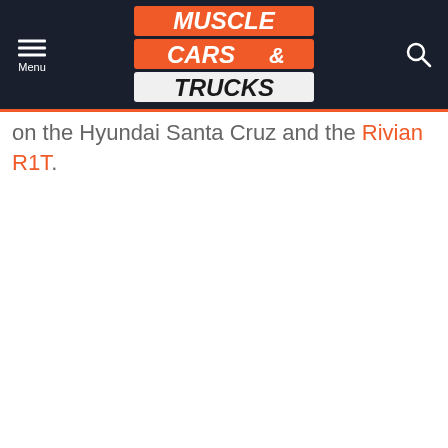Muscle Cars & Trucks
on the Hyundai Santa Cruz and the Rivian R1T.